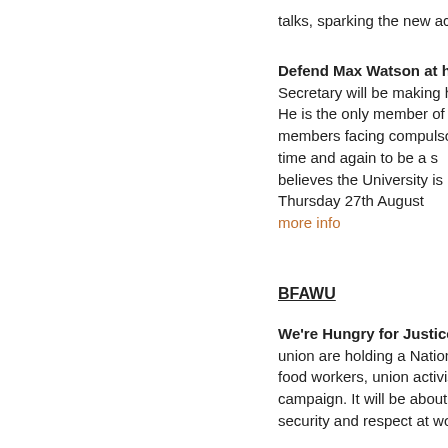talks, sparking the new action read more
Defend Max Watson at his appeal hearing – On Thursday Branch Secretary will be making his appeal against compulsory being made redundant. He is the only member of staff in his dept and one of only three UNISON members facing compulsory redundancy whole University. Max has proved time and again to be a strong rep at University, and UNISON believes the University is using the redundancy because he is a thorn in their side – Thursday 27th August at London Metropolitan University 166-220 Holloway Road more info
BFAWU
We're Hungry for Justice: Fast Food Rights National Campaign – the Bakers union are holding a National Organising Day here. This day is a space for fast food workers, union activists and co-campaigners. Fast Food Rights campaign. It will be about drawing in activists and ways to help win better pay, job security and respect at work.
Work in Fast Food? Join the BFAWU – £10Now! Fast food workers...